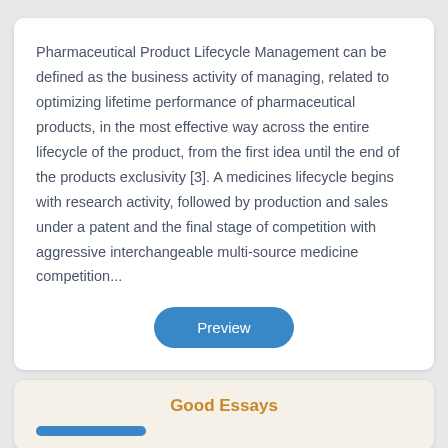Pharmaceutical Product Lifecycle Management can be defined as the business activity of managing, related to optimizing lifetime performance of pharmaceutical products, in the most effective way across the entire lifecycle of the product, from the first idea until the end of the products exclusivity [3]. A medicines lifecycle begins with research activity, followed by production and sales under a patent and the final stage of competition with aggressive interchangeable multi-source medicine competition...
Preview
Good Essays